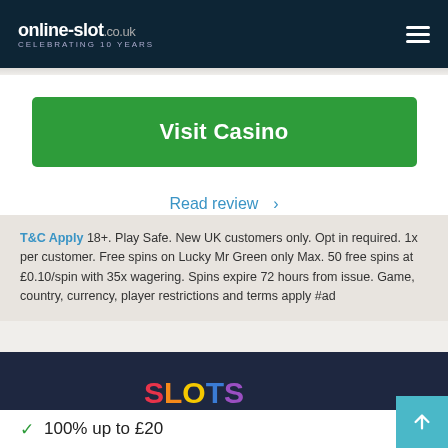online-slot.co.uk CELEBRATING 10 YEARS
Visit Casino
Read review >
T&C Apply 18+. Play Safe. New UK customers only. Opt in required. 1x per customer. Free spins on Lucky Mr Green only Max. 50 free spins at £0.10/spin with 35x wagering. Spins expire 72 hours from issue. Game, country, currency, player restrictions and terms apply #ad
[Figure (logo): Slots Million logo on dark navy background. SLOTS in multicolor letters (red S, orange L, yellow O, blue T, purple S) and MILLION in dark teal below.]
100% up to £20